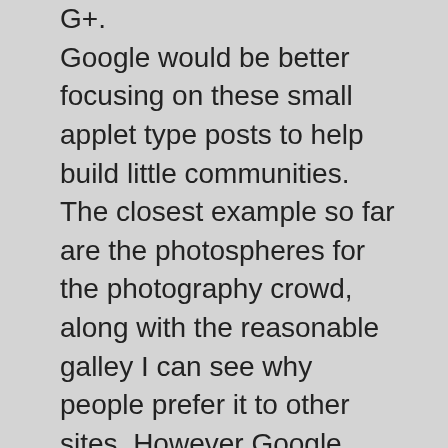G+. Google would be better focusing on these small applet type posts to help build little communities. The closest example so far are the photospheres for the photography crowd, along with the reasonable galley I can see why people prefer it to other sites. However Google clearly missed the point by fiddling around with views and adding in vanilla photos to it. I'm sure there's a team working away on G fit but where's the Ingress "I've just built this XM field" map and stats applet post? Where's the Google Play review posting or playlist applet that let's you play a